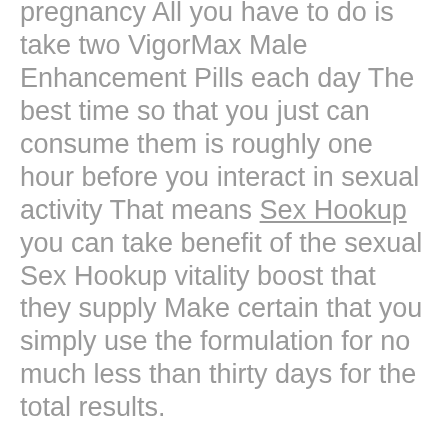pregnancy All you have to do is take two VigorMax Male Enhancement Pills each day The best time so that you just can consume them is roughly one hour before you interact in sexual activity That means Sex Hookup you can take benefit of the sexual Sex Hookup vitality boost that they supply Make certain that you simply use the formulation for no much less than thirty days for the total results.
By taking Hersolution orally once a day, the mix of vitamins and dietary supplements will increase your sexual desire inside only a few days This increase is accomplished by upping the nutrient level inside your physique that controls your sexual urges Before buying male enhancement